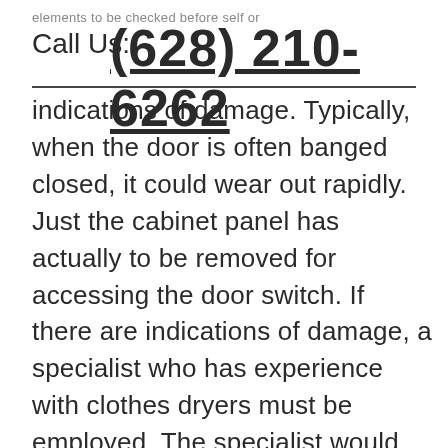Call Us: (628) 210-6262
indications of damage. Typically, when the door is often banged closed, it could wear out rapidly. Just the cabinet panel has actually to be removed for accessing the door switch. If there are indications of damage, a specialist who has experience with clothes dryers must be employed. The specialist would examine if the connection is terrific in the switch as well as would definitely later on examine the thermal fuse of the dryer.Rolling In The Clothes dryer- This